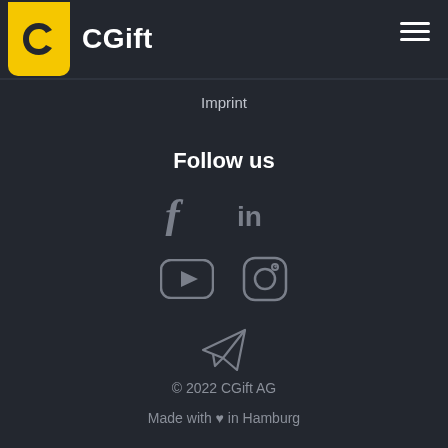[Figure (logo): CGift logo: yellow rounded badge shape with a stylized C icon, followed by bold white text 'CGift']
[Figure (other): Hamburger menu icon (three horizontal white lines) in top right corner]
Imprint
Follow us
[Figure (other): Social media icons: Facebook (f) and LinkedIn (in) icons in grey]
[Figure (other): Social media icons: YouTube play button icon and Instagram icon in grey]
[Figure (other): Telegram/paper plane send icon in grey]
© 2022 CGift AG
Made with ♥ in Hamburg